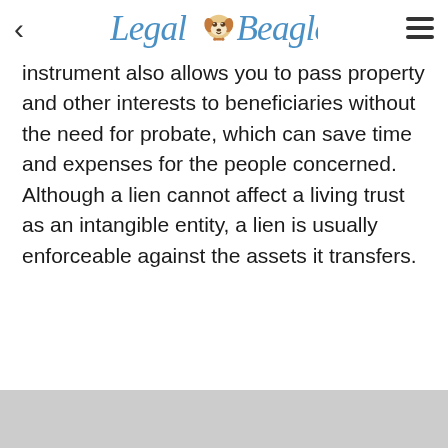Legal Beagle
instrument also allows you to pass property and other interests to beneficiaries without the need for probate, which can save time and expenses for the people concerned. Although a lien cannot affect a living trust as an intangible entity, a lien is usually enforceable against the assets it transfers.